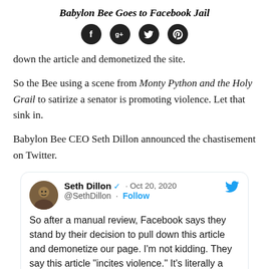Babylon Bee Goes to Facebook Jail
[Figure (other): Social media sharing icons: Facebook, Google+, Twitter, Pinterest — circular dark buttons]
down the article and demonetized the site.
So the Bee using a scene from Monty Python and the Holy Grail to satirize a senator is promoting violence. Let that sink in.
Babylon Bee CEO Seth Dillon announced the chastisement on Twitter.
[Figure (screenshot): Embedded tweet by Seth Dillon (@SethDillon), verified account, Oct 20, 2020. Text: 'So after a manual review, Facebook says they stand by their decision to pull down this article and demonetize our page. I'm not kidding. They say this article "incites violence." It's literally a regurgitated joke from a Monty Python movie!' With a partial image at the bottom showing a person's face.]